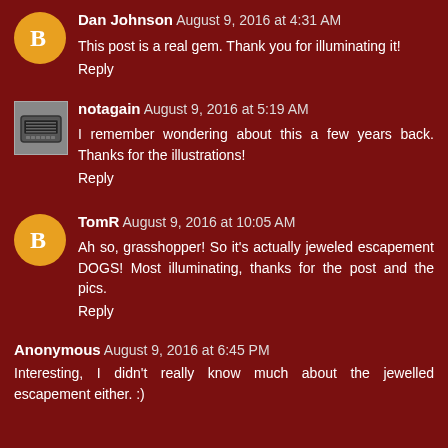Dan Johnson August 9, 2016 at 4:31 AM
This post is a real gem. Thank you for illuminating it!
Reply
notagain August 9, 2016 at 5:19 AM
I remember wondering about this a few years back. Thanks for the illustrations!
Reply
TomR August 9, 2016 at 10:05 AM
Ah so, grasshopper! So it's actually jeweled escapement DOGS! Most illuminating, thanks for the post and the pics.
Reply
Anonymous August 9, 2016 at 6:45 PM
Interesting, I didn't really know much about the jewelled escapement either. :)